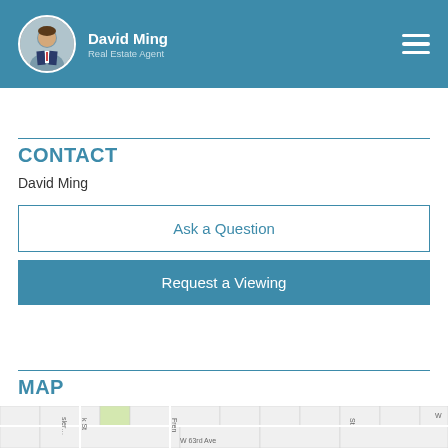David Ming Real Estate Agent
CONTACT
David Ming
Ask a Question
Request a Viewing
MAP
[Figure (map): Street map showing W 63rd Ave area with street labels including Fren, W 63rd Ave, K St, and other streets]